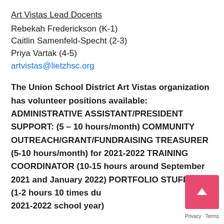Art Vistas Lead Docents
Rebekah Frederickson (K-1)
Caitlin Samenfeld-Specht (2-3)
Priya Vartak (4-5)
artvistas@lietzhsc.org
The Union School District Art Vistas organization has volunteer positions available: ADMINISTRATIVE ASSISTANT/PRESIDENT SUPPORT: (5 – 10 hours/month) COMMUNITY OUTREACH/GRANT/FUNDRAISING TREASURER (5-10 hours/month) for 2021-2022 TRAINING COORDINATOR (10-15 hours around September 2021 and January 2022) PORTFOLIO STUFFERS (1-2 hours 10 times during 2021-2022 school year)